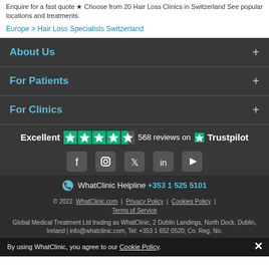Enquire for a fast quote ★ Choose from 20 Hair Loss Clinics in Switzerland See popular locations and treatments.
Europe > Hair Loss Specialists Switzerland
About Us +
For Patients +
For Clinics +
[Figure (logo): Trustpilot rating: Excellent, 4.5 stars, 568 reviews on Trustpilot]
[Figure (infographic): Social media icons: Facebook, Instagram, Twitter, LinkedIn, YouTube]
WhatClinic Helpline +353 1 525 5101
© 2022  WhatClinic.com  |  Privacy Policy  |  Cookies Policy  |  Terms of Service
Global Medical Treatment Ltd trading as WhatClinic, 2 Dublin Landings, North Dock, Dublin, Ireland | info@whatclinic.com, Tel: +353 1 652 0520; Co. Reg. No.
By using WhatClinic, you agree to our Cookie Policy.